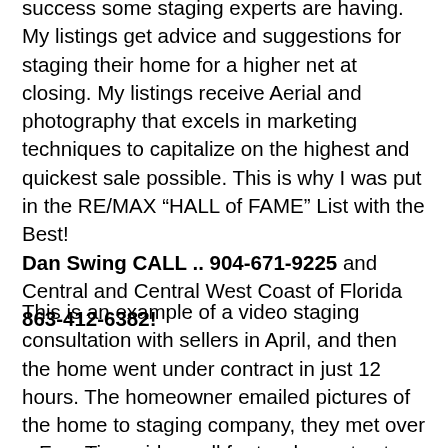success some staging experts are having. My listings get advice and suggestions for staging their home for a higher net at closing. My listings receive Aerial and photography that excels in marketing techniques to capitalize on the highest and quickest sale possible. This is why I was put in the RE/MAX “HALL of FAME” List with the Best! Dan Swing CALL .. 904-671-9225 and Central and Central West Coast of Florida 863-412-6382!
This is an example of a video staging consultation with sellers in April, and then the home went under contract in just 12 hours. The homeowner emailed pictures of the home to staging company, they met over a FaceTime video call for two hours to stage the 3,000 square foot property inside and